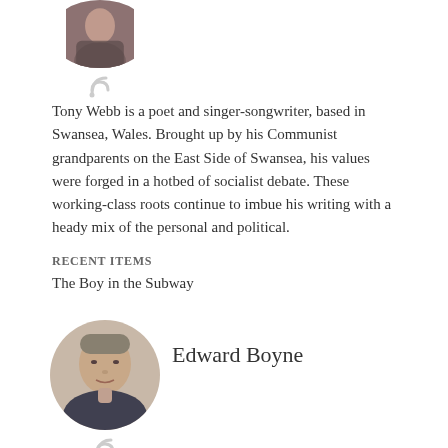[Figure (photo): Circular avatar photo of Tony Webb, partially cropped at top, with RSS feed icon below]
Tony Webb is a poet and singer-songwriter, based in Swansea, Wales. Brought up by his Communist grandparents on the East Side of Swansea, his values were forged in a hotbed of socialist debate. These working-class roots continue to imbue his writing with a heady mix of the personal and political.
RECENT ITEMS
The Boy in the Subway
Edward Boyne
[Figure (photo): Circular avatar photo of Edward Boyne, a middle-aged man, with RSS feed icon below]
Edward Boyne was born in Bride St in inner city Dublin. He is a political activist, psychotherapist and writer.
RECENT ITEMS
Meeting the Irish